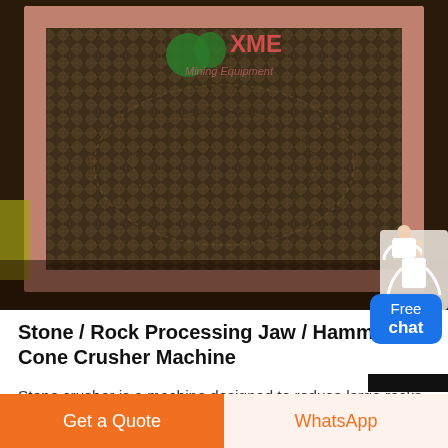[Figure (photo): Close-up photo of a metal mesh/screen mining equipment with XME Mining Equipment branding logo visible in green on the screen surface. Pink/red framing visible on the edges.]
Stone / Rock Processing Jaw / Hammer / Cone Crusher Machine
Stone crusher is a machine designed to reduce large rocks into smaller rocks, gravel, sand or rock dust. Below are most popular types of stone crushers: 1.Jaw crusher, 2.Gyratory crusher, 3.Cone crushe r :Compound cone crusher, cone